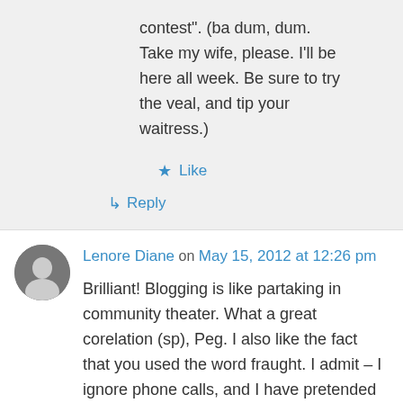contest". (ba dum, dum. Take my wife, please. I'll be here all week. Be sure to try the veal, and tip your waitress.)
Like
Reply
Lenore Diane on May 15, 2012 at 12:26 pm
Brilliant! Blogging is like partaking in community theater. What a great corelation (sp), Peg. I also like the fact that you used the word fraught. I admit – I ignore phone calls, and I have pretended not to be home when there is a knock